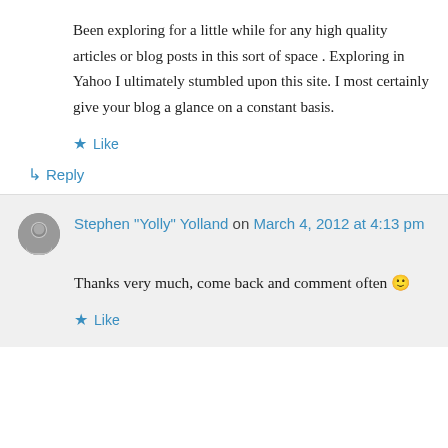Been exploring for a little while for any high quality articles or blog posts in this sort of space . Exploring in Yahoo I ultimately stumbled upon this site. I most certainly give your blog a glance on a constant basis.
★ Like
↳ Reply
Stephen "Yolly" Yolland on March 4, 2012 at 4:13 pm
Thanks very much, come back and comment often 🙂
★ Like